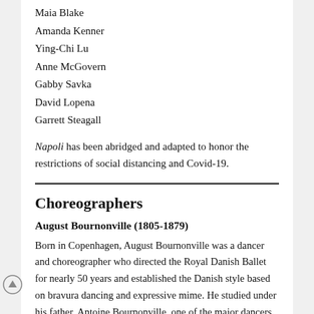Maia Blake
Amanda Kenner
Ying-Chi Lu
Anne McGovern
Gabby Savka
David Lopena
Garrett Steagall
Napoli has been abridged and adapted to honor the restrictions of social distancing and Covid-19.
Choreographers
August Bournonville (1805-1879)
Born in Copenhagen, August Bournonville was a dancer and choreographer who directed the Royal Danish Ballet for nearly 50 years and established the Danish style based on bravura dancing and expressive mime. He studied under his father, Antoine Bournonville, one of the major dancers of his day, before going to Paris for further training under Augusto